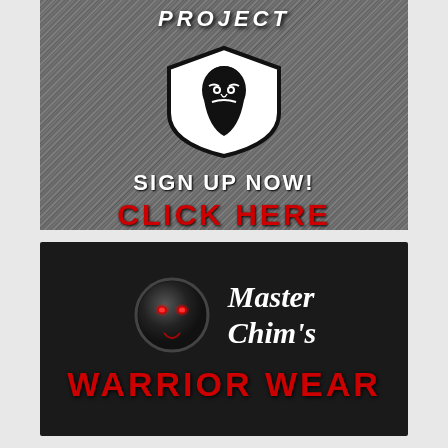[Figure (logo): Top banner: dark gray scratched metallic background with a warrior/berserker project logo showing a bald bearded man face in a shield emblem, text 'PROJECT' at top, 'SIGN UP NOW!' in white bold uppercase, 'CLICK HERE' in red bold uppercase]
[Figure (logo): Bottom banner: dark/black background with a glowing red-eyed demon orb sphere icon on the left, text 'Master Chim's' in white bold italic serif font, and 'WARRIOR WEAR' in large red bold uppercase font below]